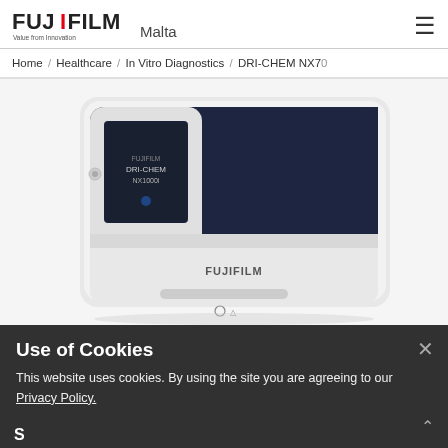[Figure (logo): FUJIFILM logo with tagline 'Value from Innovation' and 'Malta' text beside it]
Home / Healthcare / In Vitro Diagnostics / DRI-CHEM NX70
[Figure (photo): FUJIFILM DRI-CHEM NX70 medical analyzer device — white/dark navy body with touchscreen display showing DRI-CHEM NX logo]
Use of Cookies
This website uses cookies. By using the site you are agreeing to our Privacy Policy.